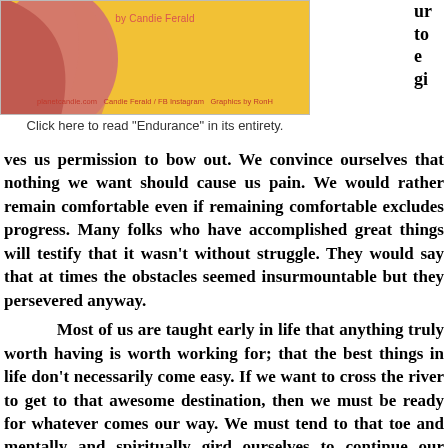[Figure (illustration): Book cover or article header image with yellow background, pink/salmon curved shapes on the left side, byline 'by Candie Ferald' and footer text 'planetcandie.com  Candie Ferald / FB Instagram  Graphics by RonH']
Click here to read "Endurance" in its entirety.
ves us permission to bow out. We convince ourselves that nothing we want should cause us pain. We would rather remain comfortable even if remaining comfortable excludes progress. Many folks who have accomplished great things will testify that it wasn't without struggle. They would say that at times the obstacles seemed insurmountable but they persevered anyway.
Most of us are taught early in life that anything truly worth having is worth working for; that the best things in life don't necessarily come easy. If we want to cross the river to get to that awesome destination, then we must be ready for whatever comes our way. We must tend to that toe and mentally and spiritually gird ourselves to continue our journey.
Maybe that stubbing of the toe was a gentle warning that we should be careful. Perhaps instead of thinking that the